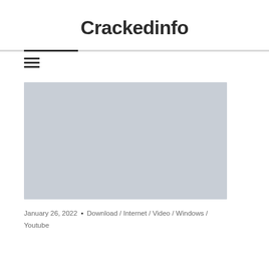Crackedinfo
[Figure (other): Hamburger menu icon - three horizontal lines]
[Figure (photo): Featured image placeholder - light grey rectangle]
January 26, 2022 • Download / Internet / Video / Windows / Youtube